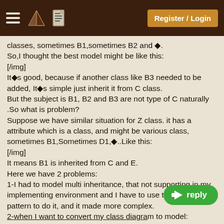Register / Login
classes, sometimes B1,sometimes B2 and �.
So,I thought the best model might be like this:
[/img]
It�s good, because if another class like B3 needed to be added, It�s simple just inherit it from C class.
But the subject is B1, B2 and B3 are not type of C naturally .So what is problem?
Suppose we have similar situation for Z class. it has a attribute which is a class, and might be various class, sometimes B1,Sometimes D1,�..Like this:
[/img]
It means B1 is inherited from C and E.
Here we have 2 problems:
1-I had to model multi inheritance, that not supporting in my implementing environment and I have to use trick and pattern to do it, and it made more complex.
2-when I want to convert my class diagram to model:
I will have a C table with CID for Primary key. And I have B1 and B2 tables too. Related class of them inherited